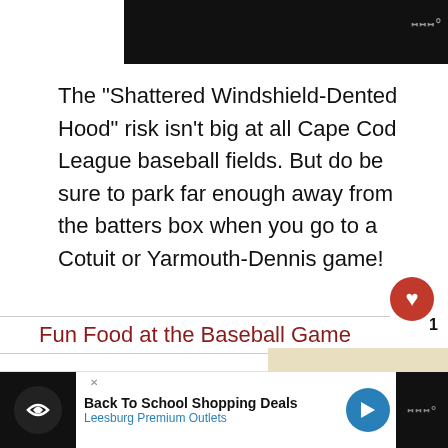[Figure (photo): Black video/image placeholder bar at top of page]
The "Shattered Windshield-Dented Hood" risk isn't big at all Cape Cod League baseball fields. But do be sure to park far enough away from the batters box when you go to a Cotuit or Yarmouth-Dennis game!
Fun Food at the Baseball Game
Wonder what this is?  -
>
[Figure (photo): Close-up photo of food item being prepared, appears to be a cheeseburger or similar food]
It
[Figure (screenshot): What's Next overlay: Cape Cod Baseball...]
Back To School Shopping Deals
Leesburg Premium Outlets